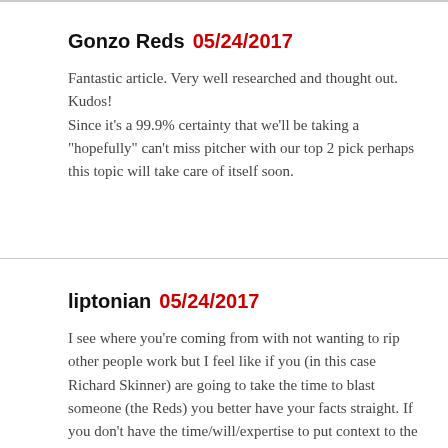Gonzo Reds 05/24/2017
Fantastic article. Very well researched and thought out. Kudos!
Since it’s a 99.9% certainty that we’ll be taking a “hopefully” can’t miss pitcher with our top 2 pick perhaps this topic will take care of itself soon.
liptonian 05/24/2017
I see where you’re coming from with not wanting to rip other people work but I feel like if you (in this case Richard Skinner) are going to take the time to blast someone (the Reds) you better have your facts straight. If you don’t have the time/will/expertise to put context to the numbers you are using to bash someone you are worthless. All he is